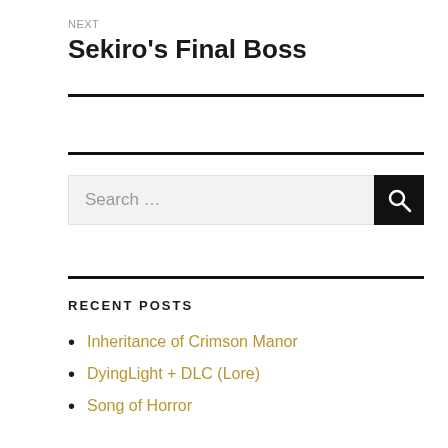NEXT
Sekiro's Final Boss
RECENT POSTS
Inheritance of Crimson Manor
DyingLight + DLC (Lore)
Song of Horror